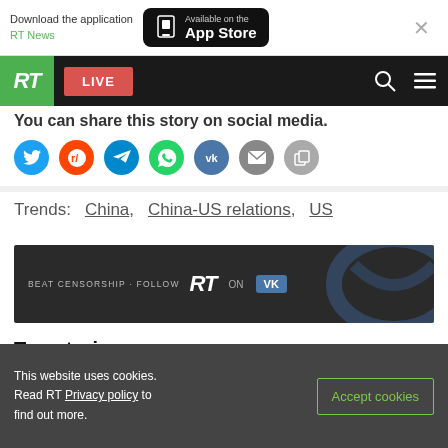Download the application RT News — Available on the App Store
[Figure (screenshot): RT website navigation bar with green RT logo, LIVE button, search and menu icons]
You can share this story on social media.
[Figure (infographic): Social share icons: Twitter, Reddit, Telegram, WhatsApp, VK, Email, Copy link]
Trends:  China,  China-US relations,  US
[Figure (infographic): BEAT CENSORSHIP - FOLLOW RT ON VK promotional banner]
Top stories
This website uses cookies. Read RT Privacy policy to find out more.